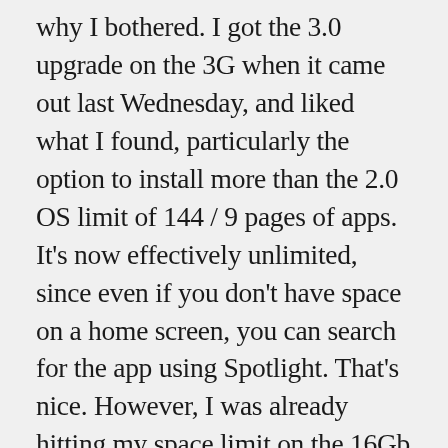why I bothered. I got the 3.0 upgrade on the 3G when it came out last Wednesday, and liked what I found, particularly the option to install more than the 2.0 OS limit of 144 / 9 pages of apps. It's now effectively unlimited, since even if you don't have space on a home screen, you can search for the app using Spotlight. That's nice. However, I was already hitting my space limit on the 16Gb 3G, so room to breathe was going to be handy. I also liked the improved navigation and possibility to get the TomTom kit in the future, and once I'd tried the camera in-store, I thought that was going to be a big deal as well (more on that, below). There was